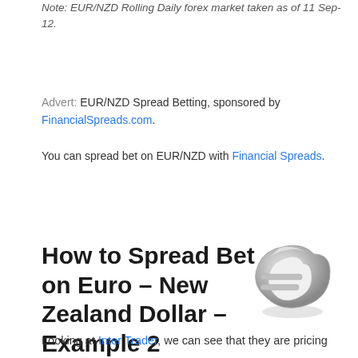Note: EUR/NZD Rolling Daily forex market taken as of 11 Sep-12.
Advert: EUR/NZD Spread Betting, sponsored by FinancialSpreads.com.
You can spread bet on EUR/NZD with Financial Spreads.
How to Spread Bet on Euro – New Zealand Dollar – Example 2
Looking at Inter Trader, we can see that they are pricing